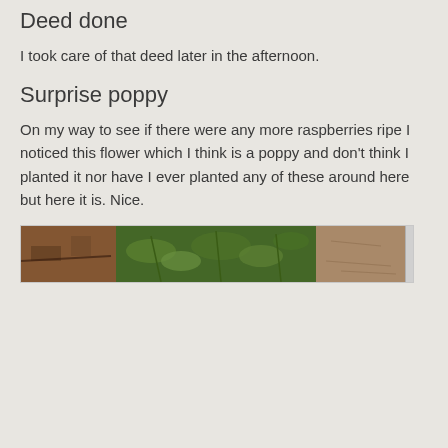Deed done
I took care of that deed later in the afternoon.
Surprise poppy
On my way to see if there were any more raspberries ripe I noticed this flower which I think is a poppy and don't think I planted it nor have I ever planted any of these around here but here it is. Nice.
[Figure (photo): A horizontal strip photo of a garden scene showing brown soil/mulch on the left, green leafy plants in the middle, and dry soil/ground on the right. A vertical scroll bar element is visible on the right edge.]